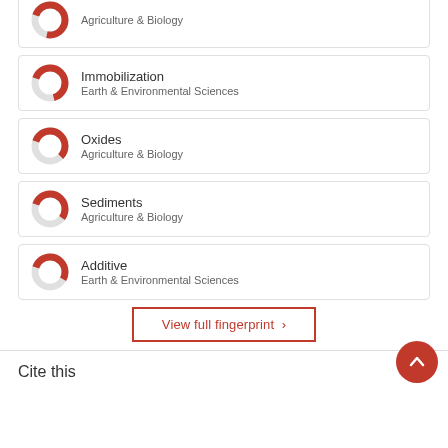Agriculture & Biology
Immobilization — Earth & Environmental Sciences
Oxides — Agriculture & Biology
Sediments — Agriculture & Biology
Additive — Earth & Environmental Sciences
View full fingerprint >
Cite this